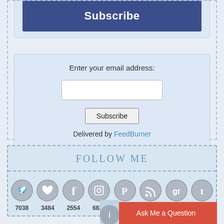[Figure (screenshot): Blue Subscribe button at top of email subscription widget]
Enter your email address:
[Figure (screenshot): Email input text field (empty)]
[Figure (screenshot): Subscribe button (small, outlined)]
Delivered by FeedBurner
Follow Me
[Figure (infographic): Row of 8 social media icons with follower counts: Twitter 7038, Bloglovin 3484, Facebook 2554, Instagram 6825, Pinterest 453, RSS 16024, Goodreads 2468, Tumblr 53]
[Figure (screenshot): Ask Me a Question red button at bottom right]